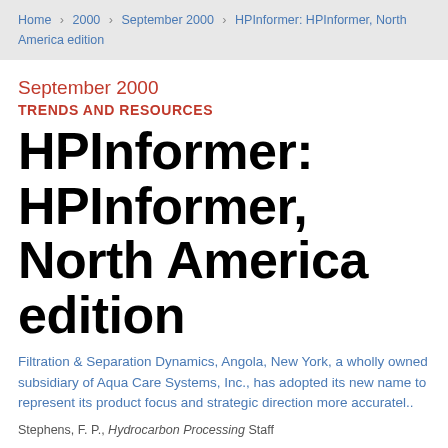Home > 2000 > September 2000 > HPInformer: HPInformer, North America edition
September 2000
TRENDS AND RESOURCES
HPInformer: HPInformer, North America edition
Filtration & Separation Dynamics, Angola, New York, a wholly owned subsidiary of Aqua Care Systems, Inc., has adopted its new name to represent its product focus and strategic direction more accuratel..
Stephens, F. P., Hydrocarbon Processing Staff